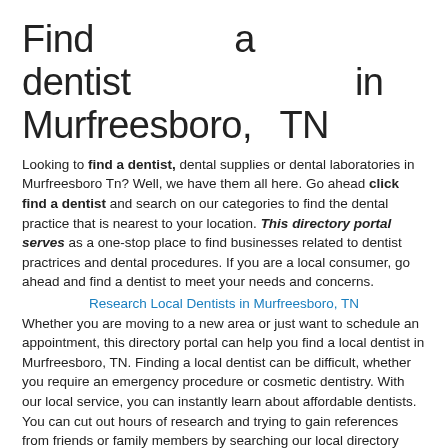Find a dentist in Murfreesboro, TN
Looking to find a dentist, dental supplies or dental laboratories in Murfreesboro Tn? Well, we have them all here. Go ahead click find a dentist and search on our categories to find the dental practice that is nearest to your location. This directory portal serves as a one-stop place to find businesses related to dentist practrices and dental procedures. If you are a local consumer, go ahead and find a dentist to meet your needs and concerns.
Research Local Dentists in Murfreesboro, TN
Whether you are moving to a new area or just want to schedule an appointment, this directory portal can help you find a local dentist in Murfreesboro, TN. Finding a local dentist can be difficult, whether you require an emergency procedure or cosmetic dentistry. With our local service, you can instantly learn about affordable dentists. You can cut out hours of research and trying to gain references from friends or family members by searching our local directory today.